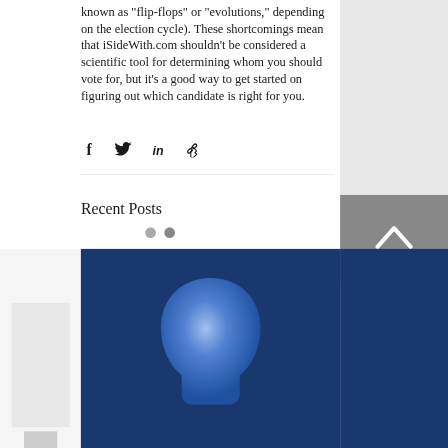known as "flip-flops" or "evolutions," depending on the election cycle). These shortcomings mean that iSideWith.com shouldn't be considered a scientific tool for determining whom you should vote for, but it's a good way to get started on figuring out which candidate is right for you.
[Figure (other): Social share icons row: Facebook, Twitter, LinkedIn, and link/chain icon]
Recent Posts
See All
[Figure (illustration): Blog post thumbnail image showing a 3D rendered blue human head silhouette on dark navy background]